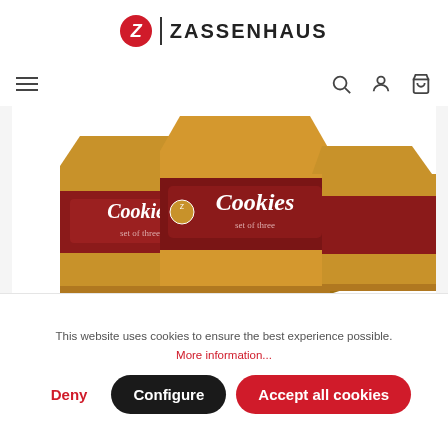ZASSENHAUS
[Figure (photo): Three vintage-style cookie/biscuit tin boxes stacked and arranged, brown and dark red with 'Cookies' label, on a white background.]
Zassenhaus – biscuit box set, 3 pieces
This website uses cookies to ensure the best experience possible.
More information...
Deny   Configure   Accept all cookies